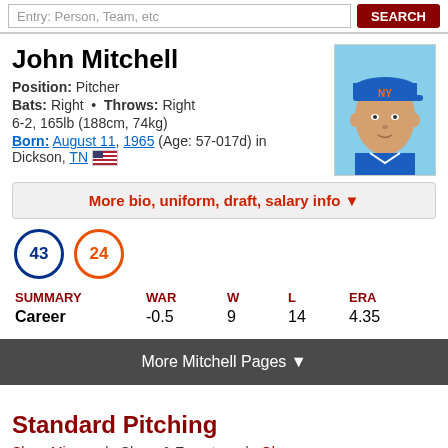John Mitchell
Position: Pitcher
Bats: Right • Throws: Right
6-2, 165lb (188cm, 74kg)
Born: August 11, 1965 (Age: 57-017d) in Dickson, TN
[Figure (photo): Headshot of John Mitchell wearing a New York Mets blue cap with NY logo]
More bio, uniform, draft, salary info ▼
43 24 (jersey numbers)
| SUMMARY | WAR | W | L | ERA |
| --- | --- | --- | --- | --- |
| Career | -0.5 | 9 | 14 | 4.35 |
More Mitchell Pages ▼
Standard Pitching
Show Minors    Share & Export ▼    Glossary